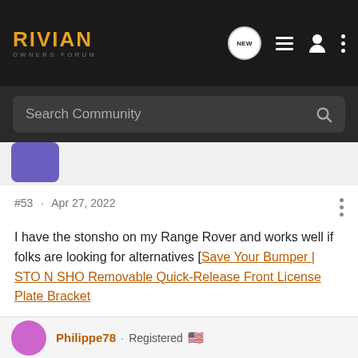RIVIAN OWNERS FORUM
Search Community
#53 · Apr 27, 2022
I have the stonsho on my Range Rover and works well if folks are looking for alternatives [Save Your Bumper | STO N SHO Removable Quick-Release Front License Plate Bracket
QUOTE="Tdogfromgsu, post: 27930, member: 4216"] solution to issue 4 View attachment 5632 [/QUOTE]
GaryGR
Philippe78 · Registered